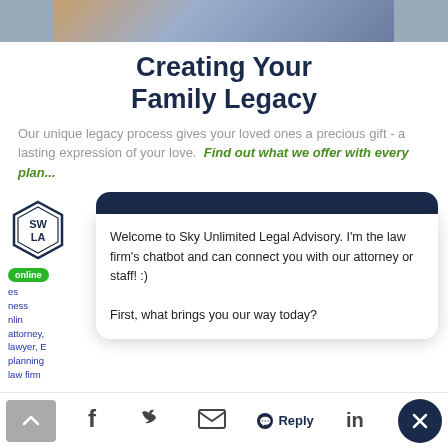[Figure (photo): Partial photo strip at top showing people, likely a family, cropped]
Creating Your Family Legacy
Our unique legacy process gives your loved ones a precious gift - a lasting expression of your love. Find out what we offer with every plan...
[Figure (screenshot): Chatbot popup widget with dark navy header, showing chatbot message: Welcome to Sky Unlimited Legal Advisory. I'm the law firm's chatbot and can connect you with our attorney or staff! :) First, what brings you our way today?]
[Figure (logo): SWLA hexagonal logo with online badge and sidebar text listing estate planning law firm services]
Reply | Social icons: Facebook, Twitter, Email, LinkedIn | Back to top button | Close button